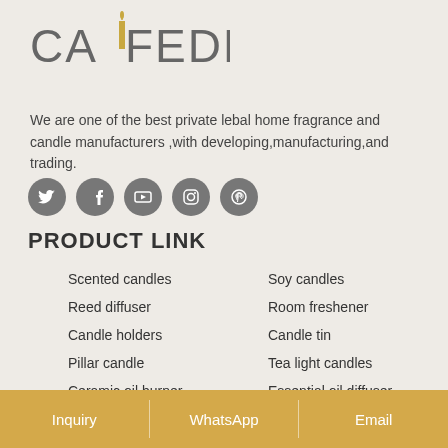[Figure (logo): CAIFEDE logo with a stylized candle replacing the letter I]
We are one of the best private lebal home fragrance and candle manufacturers ,with developing,manufacturing,and trading.
[Figure (infographic): Row of 5 social media icons: Twitter, Facebook, YouTube, Instagram, Pinterest]
PRODUCT LINK
Scented candles
Soy candles
Reed diffuser
Room freshener
Candle holders
Candle tin
Pillar candle
Tea light candles
Ceramic oil burner
Essential oil diffuser
Scented disc
Scented sachets
Inquiry   WhatsApp   Email